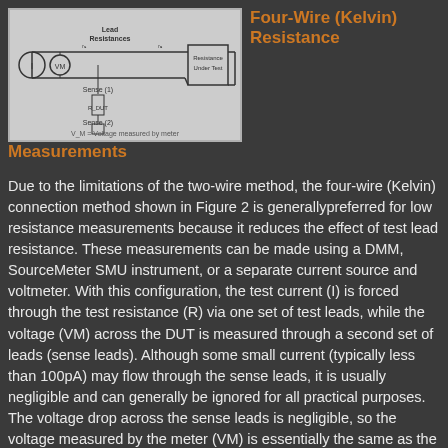[Figure (circuit-diagram): Four-wire (Kelvin) resistance measurement circuit diagram showing current source, load resistances, sense leads (Sense (1) and Sense (2)), R_DUT resistor, resistance under test, and VM voltage measurement label at bottom.]
Four-Wire (Kelvin) Resistance Measurements
Due to the limitations of the two-wire method, the four-wire (Kelvin) connection method shown in Figure 2 is generallypreferred for low resistance measurements because it reduces the effect of test lead resistance. These measurements can be made using a DMM, SourceMeter SMU instrument, or a separate current source and voltmeter. With this configuration, the test current (I) is forced through the test resistance (R) via one set of test leads, while the voltage (VM) across the DUT is measured through a second set of leads (sense leads). Although some small current (typically less than 100pA) may flow through the sense leads, it is usually negligible and can generally be ignored for all practical purposes. The voltage drop across the sense leads is negligible, so the voltage measured by the meter (VM) is essentially the same as the voltage (VR) across the resistance (R). As a result, the resistance value can be